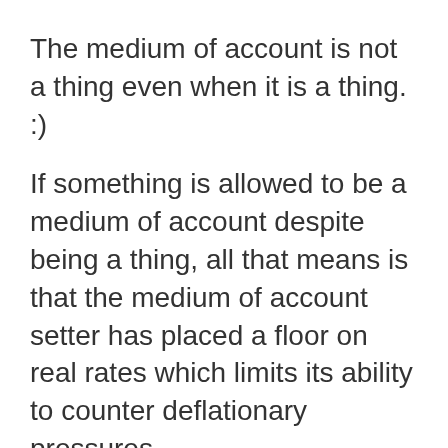The medium of account is not a thing even when it is a thing. :)
If something is allowed to be a medium of account despite being a thing, all that means is that the medium of account setter has placed a floor on real rates which limits its ability to counter deflationary pressures.
You could replicate the gold standard by requiring that all bank deposits must pay a minimum of 200 basis points above the benchmark inflation rate, calculated every month.